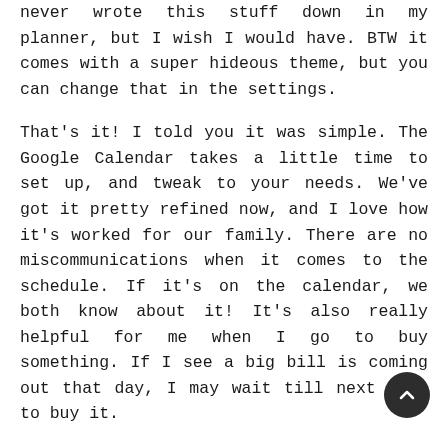never wrote this stuff down in my planner, but I wish I would have. BTW it comes with a super hideous theme, but you can change that in the settings.
That's it! I told you it was simple. The Google Calendar takes a little time to set up, and tweak to your needs. We've got it pretty refined now, and I love how it's worked for our family. There are no miscommunications when it comes to the schedule. If it's on the calendar, we both know about it! It's also really helpful for me when I go to buy something. If I see a big bill is coming out that day, I may wait till next week to buy it.
I still have a love of stationery, and I totally get when people are reluctant to give up their paper planner. Trust me, when the new simplified planners